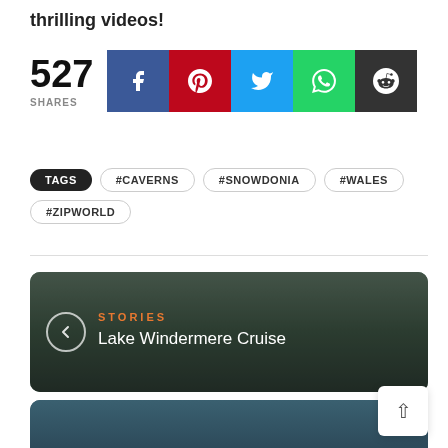thrilling videos!
527 SHARES
TAGS #CAVERNS #SNOWDONIA #WALES #ZIPWORLD
[Figure (photo): Lake Windermere Cruise story card with navigation arrow and STORIES label]
[Figure (photo): Partially visible STORIES card below]